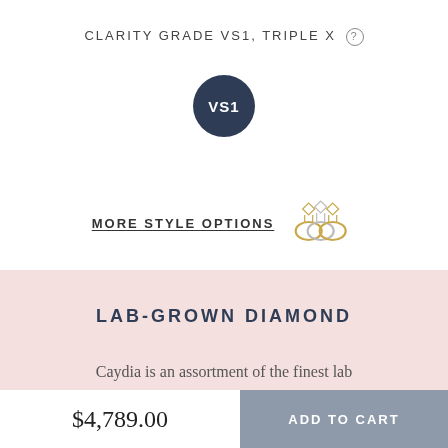CLARITY GRADE VS1, TRIPLE X ⓘ
[Figure (illustration): Dark navy blue circle badge with white text reading 'VS1']
MORE STYLE OPTIONS
[Figure (illustration): Three overlapping ring icons with diamond tops — yellow gold, white/silver, yellow gold]
LAB-GROWN DIAMOND
Caydia is an assortment of the finest lab [grown diamonds, text continues below]
$4,789.00
ADD TO CART